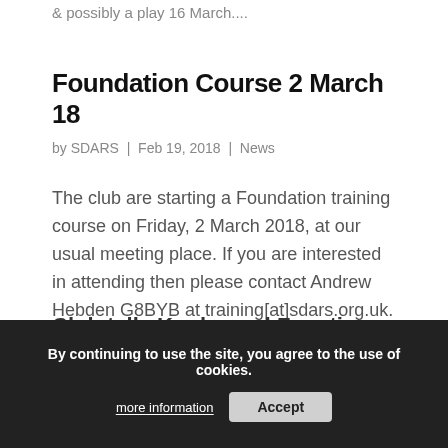& possibly a play 16 March....
Foundation Course 2 March 18
by SDARS | Feb 19, 2018 | News
The club are starting a Foundation training course on Friday, 2 March 2018, at our usual meeting place. If you are interested in attending then please contact Andrew Hebden G8BYB at training[at]sdars.org.uk.
By continuing to use the site, you agree to the use of cookies.
more information
Accept
Club talk, Knobs and Functions on equipment, 27/10/17